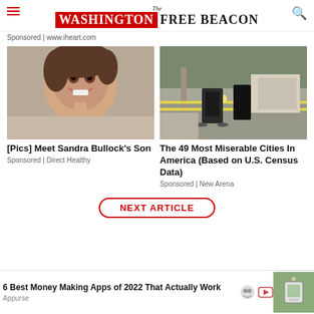The Washington Free Beacon
Sponsored | www.iheart.com
[Figure (photo): Smiling woman with dark hair and earrings, close-up portrait]
[Pics] Meet Sandra Bullock's Son
Sponsored | Direct Healthy
[Figure (photo): Crime scene with police tape, investigators on sidewalk near cars]
The 49 Most Miserable Cities In America (Based on U.S. Census Data)
Sponsored | New Arena
NEXT ARTICLE
6 Best Money Making Apps of 2022 That Actually Work
Appurse